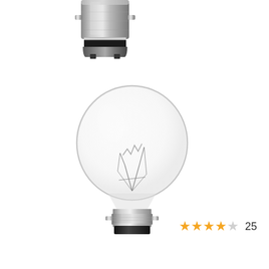[Figure (photo): Close-up photo of the bayonet cap (B15 or B22) base of a small round incandescent light bulb, showing silver metallic bayonet fitting with black plastic base, viewed from the top/side angle]
[Figure (photo): Full view of a small round clear incandescent golf ball light bulb (G45 type) with bayonet cap (B15d or SBC) silver metallic base, visible tungsten filament inside the clear glass globe]
★★★★☆ 25